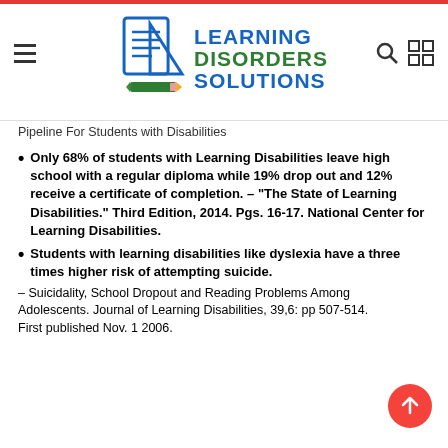Learning Disorders Solutions
Pipeline For Students with Disabilities
Only 68% of students with Learning Disabilities leave high school with a regular diploma while 19% drop out and 12% receive a certificate of completion. – "The State of Learning Disabilities." Third Edition, 2014. Pgs. 16-17. National Center for Learning Disabilities.
Students with learning disabilities like dyslexia have a three times higher risk of attempting suicide.
– Suicidality, School Dropout and Reading Problems Among Adolescents. Journal of Learning Disabilities, 39,6: pp 507-514. First published Nov. 1 2006.